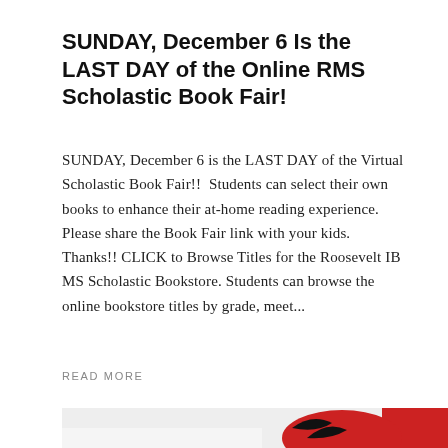SUNDAY, December 6 Is the LAST DAY of the Online RMS Scholastic Book Fair!
SUNDAY, December 6 is the LAST DAY of the Virtual Scholastic Book Fair!! Students can select their own books to enhance their at-home reading experience. Please share the Book Fair link with your kids. Thanks!! CLICK to Browse Titles for the Roosevelt IB MS Scholastic Bookstore. Students can browse the online bookstore titles by grade, meet...
READ MORE
[Figure (illustration): Partial view of a cartoon red bird mascot illustration, cropped at the bottom of the page]